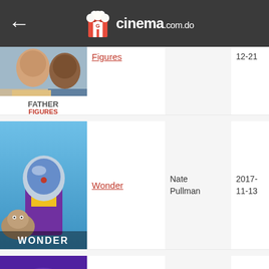cinema.com.do
[Figure (screenshot): Father Figures movie poster showing two men smiling, with 'FATHER FIGURES' text below]
Figures
12-21
[Figure (screenshot): Wonder movie poster showing a child in an astronaut helmet with a dog, title 'WONDER' at bottom]
Wonder
Nate Pullman
2017-11-13
[Figure (screenshot): Zoolander: Super Model movie poster showing animated characters on purple background]
Zoolander: Super Model
Hansel (voice)
2016-08-01